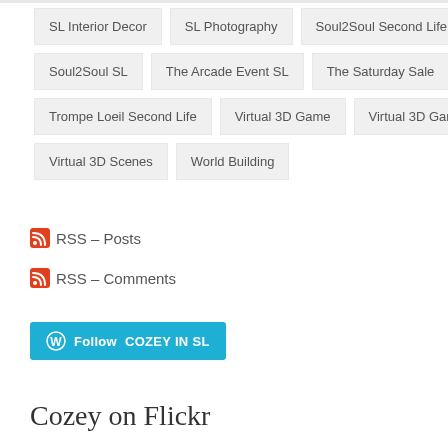SL Interior Decor
SL Photography
Soul2Soul Second Life
Soul2Soul SL
The Arcade Event SL
The Saturday Sale
Trompe Loeil Second Life
Virtual 3D Game
Virtual 3D Gaming
Virtual 3D Scenes
World Building
RSS – Posts
RSS – Comments
Follow COZEY IN SL
Cozey on Flickr